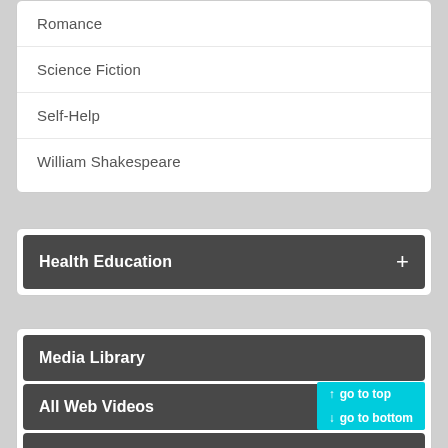Romance
Science Fiction
Self-Help
William Shakespeare
Health Education
Media Library
All Web Videos
Multimedia Downloads